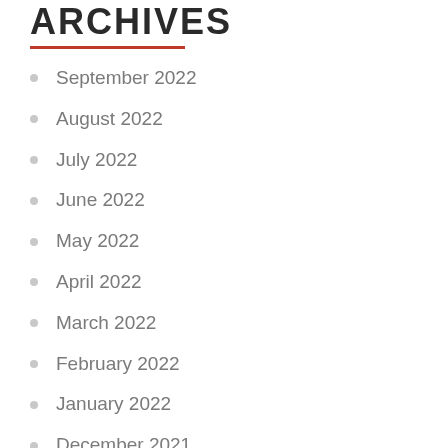ARCHIVES
September 2022
August 2022
July 2022
June 2022
May 2022
April 2022
March 2022
February 2022
January 2022
December 2021
October 2021